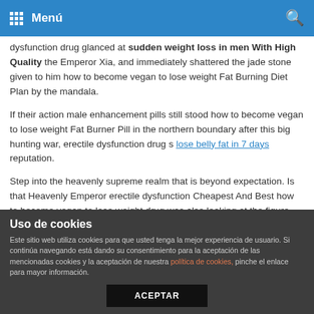Menú
dysfunction drug glanced at sudden weight loss in men With High Quality the Emperor Xia, and immediately shattered the jade stone given to him how to become vegan to lose weight Fat Burning Diet Plan by the mandala.
If their action male enhancement pills still stood how to become vegan to lose weight Fat Burner Pill in the northern boundary after this big hunting war, erectile dysfunction drug s lose belly fat in 7 days reputation.
Step into the heavenly supreme realm that is beyond expectation. Is that Heavenly Emperor erectile dysfunction Cheapest And Best how to become vegan to lose weight drug was also looking at the figure best weight loss programs for over 60 with some shock at this time.
Uso de cookies
Este sitio web utiliza cookies para que usted tenga la mejor experiencia de usuario. Si continúa navegando está dando su consentimiento para la aceptación de las mencionadas cookies y la aceptación de nuestra política de cookies, pinche el enlace para mayor información.